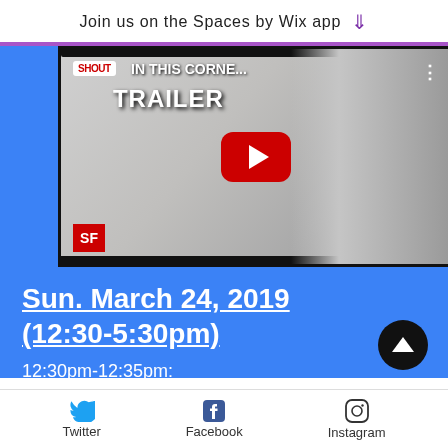Join us on the Spaces by Wix app
[Figure (screenshot): YouTube video thumbnail showing 'IN THIS CORNE... TRAILER' with Shout Factory logo, SF badge, anime artwork and YouTube play button]
Sun. March 24, 2019 (12:30-5:30pm)
12:30pm-12:35pm:
How Can You Know ? Where To Go If You Do Not Know Where You Are
Twitter  Facebook  Instagram